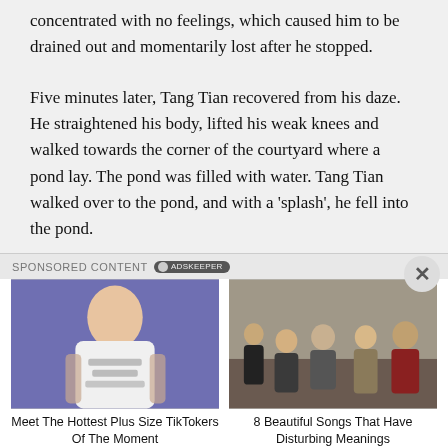concentrated with no feelings, which caused him to be drained out and momentarily lost after he stopped.
Five minutes later, Tang Tian recovered from his daze. He straightened his body, lifted his weak knees and walked towards the corner of the courtyard where a pond lay. The pond was filled with water. Tang Tian walked over to the pond, and with a ‘splash’, he fell into the pond.
SPONSORED CONTENT
[Figure (photo): Woman in a white t-shirt with text, heavily tattooed, with dark hair pulled back.]
Meet The Hottest Plus Size TikTokers Of The Moment
[Figure (photo): Group of five men posing together, some seated and some standing, in casual and semi-casual clothing.]
8 Beautiful Songs That Have Disturbing Meanings